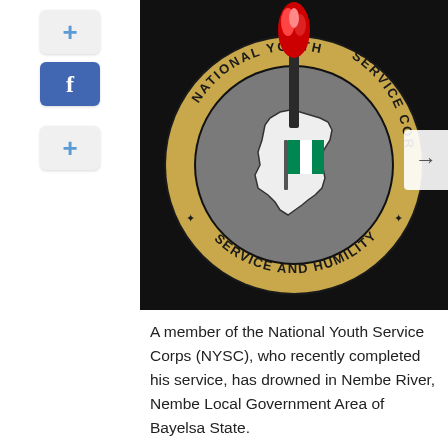[Figure (logo): National Youth Service Corps (NYSC) circular logo on black background. Features a gold/tan ring with the text 'NATIONAL YOUTH SERVICE CORPS' and 'SERVICE AND HUMILITY' around the border. Center shows a gray map of Nigeria with a Nigerian flag (green-white-green), and a torch with red flame at top. Stars used as dividers in the text ring.]
A member of the National Youth Service Corps (NYSC), who recently completed his service, has drowned in Nembe River, Nembe Local Government Area of Bayelsa State.